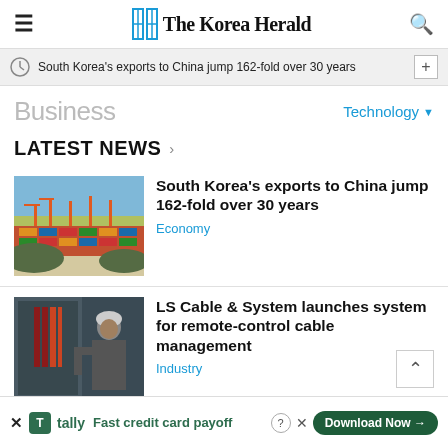The Korea Herald
South Korea’s exports to China jump 162-fold over 30 years
Business
Technology
LATEST NEWS
[Figure (photo): Aerial view of a busy Korean port with shipping containers and cranes]
South Korea’s exports to China jump 162-fold over 30 years
Economy
[Figure (photo): Worker in hard hat working on cable management equipment in an industrial setting]
LS Cable & System launches system for remote-control cable management
Industry
Fast credit card payoff
Download Now